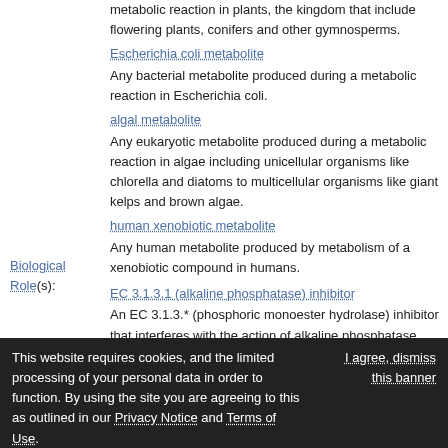metabolic reaction in plants, the kingdom that include flowering plants, conifers and other gymnosperms.
Escherichia coli metabolite
Any bacterial metabolite produced during a metabolic reaction in Escherichia coli.
algal metabolite
Any eukaryotic metabolite produced during a metabolic reaction in algae including unicellular organisms like chlorella and diatoms to multicellular organisms like giant kelps and brown algae.
human xenobiotic metabolite
Any human metabolite produced by metabolism of a xenobiotic compound in humans.
Biological Role(s):
EC 3.1.3.1 (alkaline phosphatase) inhibitor
An EC 3.1.3.* (phosphoric monoester hydrolase) inhibitor that interferes with the action of alkaline phosphatase (EC 3.1.3.1).
This website requires cookies, and the limited processing of your personal data in order to function. By using the site you are agreeing to this as outlined in our Privacy Notice and Terms of Use.
I agree, dismiss this banner